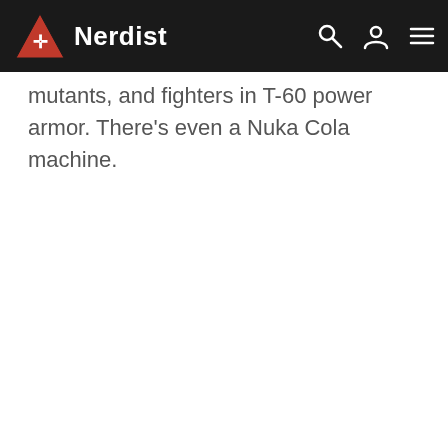Nerdist
mutants, and fighters in T-60 power armor. There’s even a Nuka Cola machine.